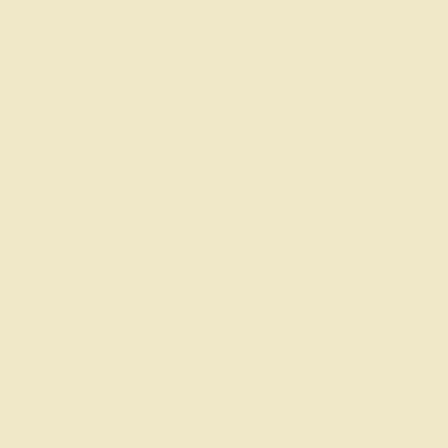[Figure (map): Fulton County Indiana aerial photo top portion showing farmland fields from above, with a watermark bar reading 'Exported with the Trial GIS Viewer - www.Trial GIS.com']
Fulton County, Indiana aerial photo sa
[Figure (photo): Fulton County Indiana aerial photo showing dense tree canopy (dark blue-green), open grassy areas, dirt paths, and structures including what appears to be a water tower and small buildings at bottom right]